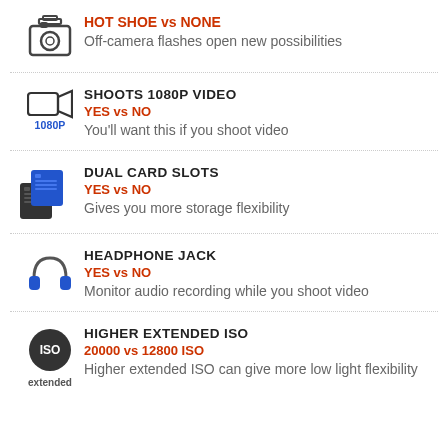HOT SHOE vs NONE
Off-camera flashes open new possibilities
SHOOTS 1080P VIDEO
YES vs NO
You'll want this if you shoot video
DUAL CARD SLOTS
YES vs NO
Gives you more storage flexibility
HEADPHONE JACK
YES vs NO
Monitor audio recording while you shoot video
HIGHER EXTENDED ISO
20000 vs 12800 ISO
Higher extended ISO can give more low light flexibility